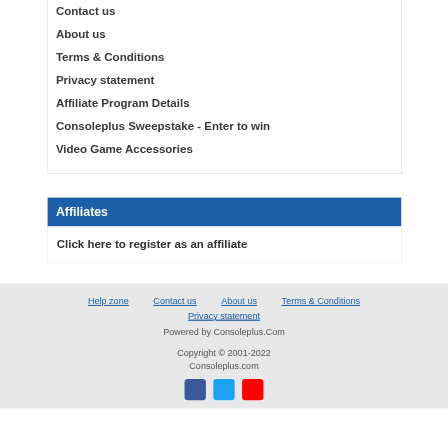Contact us
About us
Terms & Conditions
Privacy statement
Affiliate Program Details
Consoleplus Sweepstake - Enter to win
Video Game Accessories
Affiliates
Click here to register as an affiliate
Help zone   Contact us   About us   Terms & Conditions
Privacy statement
Powered by Consoleplus.Com
Copyright © 2001-2022
Consoleplus.com